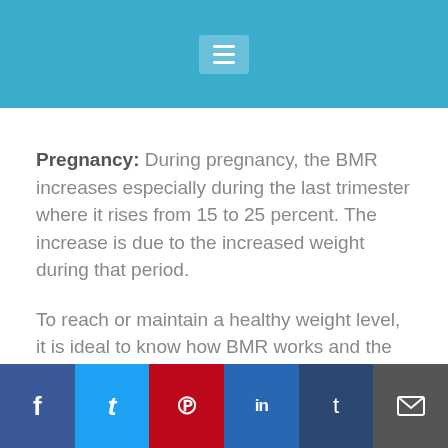Pregnancy: During pregnancy, the BMR increases especially during the last trimester where it rises from 15 to 25 percent. The increase is due to the increased weight during that period.
To reach or maintain a healthy weight level, it is ideal to know how BMR works and the total number of calories you burn every day. With that
f | t | p | in | t | mail